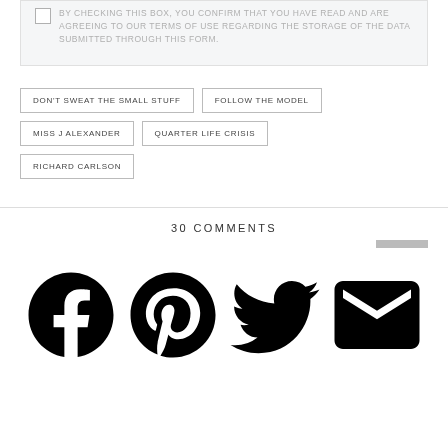BY CHECKING THIS BOX, YOU CONFIRM THAT YOU HAVE READ AND ARE AGREEING TO OUR TERMS OF USE REGARDING THE STORAGE OF THE DATA SUBMITTED THROUGH THIS FORM.
DON'T SWEAT THE SMALL STUFF
FOLLOW THE MODEL
MISS J ALEXANDER
QUARTER LIFE CRISIS
RICHARD CARLSON
30 COMMENTS
[Figure (other): Social media sharing icons: Facebook, Pinterest, Twitter, Email]